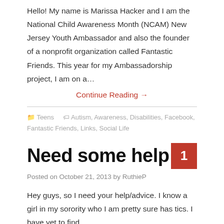Hello! My name is Marissa Hacker and I am the National Child Awareness Month (NCAM) New Jersey Youth Ambassador and also the founder of a nonprofit organization called Fantastic Friends. This year for my Ambassadorship project, I am on a…
Continue Reading →
Teens   Autism, Awareness, Disabilities, Facebook, Fantastic Friends, Links, Social Life
Need some help
Posted on October 21, 2013 by RuthieP
Hey guys, so I need your help/advice. I know a girl in my sorority who I am pretty sure has tics. I have yet to find